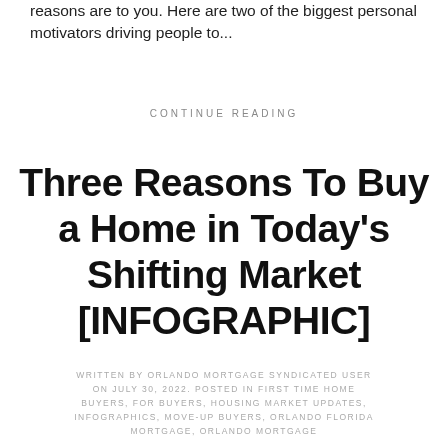reasons are to you. Here are two of the biggest personal motivators driving people to...
CONTINUE READING
Three Reasons To Buy a Home in Today's Shifting Market [INFOGRAPHIC]
WRITTEN BY ORLANDO MORTGAGE SYNDICATED USER ON JULY 30, 2022. POSTED IN FIRST TIME HOME BUYERS, FOR BUYERS, HOUSING MARKET UPDATES, INFOGRAPHICS, MOVE-UP BUYERS, ORLANDO FLORIDA MORTGAGE, ORLANDO MORTGAGE